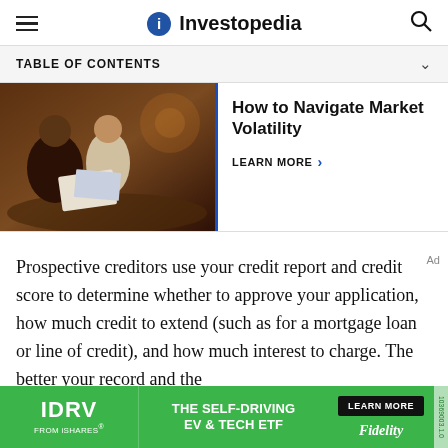Investopedia
TABLE OF CONTENTS
[Figure (photo): Two people reviewing financial documents at a table in a restaurant/cafe setting]
How to Navigate Market Volatility
LEARN MORE >
Prospective creditors use your credit report and credit score to determine whether to approve your application, how much credit to extend (such as for a mortgage loan or line of credit), and how much interest to charge. The better your record and the
[Figure (advertisement): IDRV from iShares advertisement banner - THE SELF-DRIVING EV & TECH ETF, LEARN MORE, Fidelity]